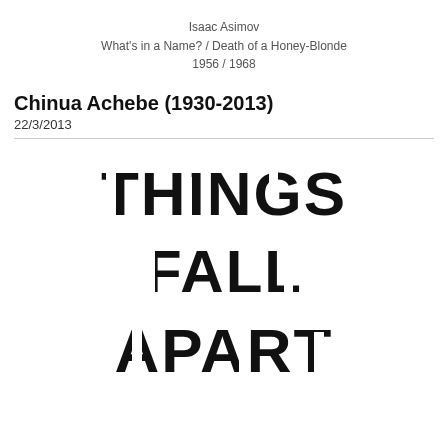Isaac Asimov
What's in a Name? / Death of a Honey-Blonde
1956 / 1968
Chinua Achebe (1930-2013)
22/3/2013
[Figure (illustration): Book cover of 'Things Fall Apart' by Chinua Achebe showing the words THINGS, FALL, APART in large fragmented/distorted black letters on a white background, stacked vertically.]